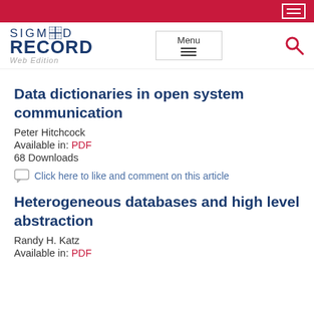SIGMOD RECORD Web Edition
Data dictionaries in open system communication
Peter Hitchcock
Available in: PDF
68 Downloads
Click here to like and comment on this article
Heterogeneous databases and high level abstraction
Randy H. Katz
Available in: PDF